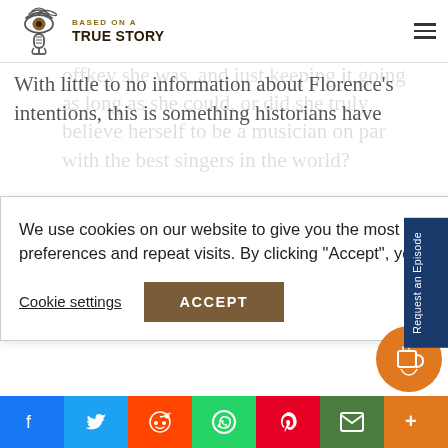[Figure (logo): Based on a True Story podcast logo: eye with radio waves above a microphone]
We just don't know what Florence's true intentions were. Was she aware of how offkey she was, and just keeping it going as long as she could, or did she truly believe herself to be a musician on par with the best singers in the world?
With little to no information about Florence's intentions, this is something historians have something me the topic o. we know is hat night in
We use cookies on our website to give you the most relevant experience by remembering your preferences and repeat visits. By clicking "Accept", you consent to the use of ALL the cookies.
Cookie settings
ACCEPT
Request an Episode